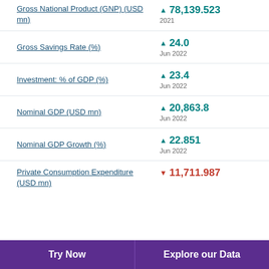Gross National Product (GNP) (USD mn) ▲ 78,139.523 2021
Gross Savings Rate (%) ▲ 24.0 Jun 2022
Investment: % of GDP (%) ▲ 23.4 Jun 2022
Nominal GDP (USD mn) ▲ 20,863.8 Jun 2022
Nominal GDP Growth (%) ▲ 22.851 Jun 2022
Private Consumption Expenditure (USD mn) ▼ 11,711.987
Try Now   Explore our Data